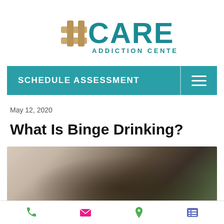[Figure (logo): Care Addiction Center logo with teal cross/hashtag symbol and teal text]
[Figure (screenshot): Navigation bar with 'SCHEDULE ASSESSMENT' button and hamburger menu on teal background]
May 12, 2020
What Is Binge Drinking?
[Figure (photo): Blurred close-up photo of a dark bottle (alcohol) with beige/brown blurred background]
[Figure (screenshot): Mobile bottom navigation bar with phone, email, location, and list icons]